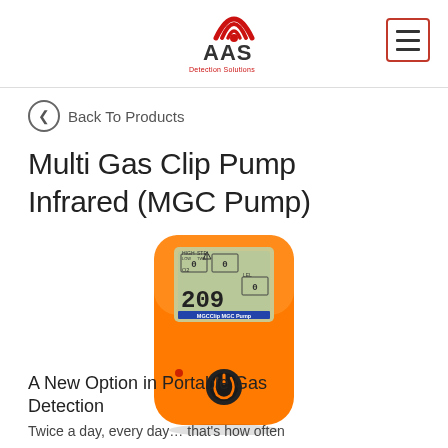AAS Detection Solutions
Back To Products
Multi Gas Clip Pump Infrared (MGC Pump)
[Figure (photo): Orange handheld multi-gas detector device (MGC Pump Infrared) with LCD display showing readings including 209 for O2 and 0 for other gases, with a power button on the front face.]
A New Option in Portable Gas Detection
Twice a day, every day… that's how often